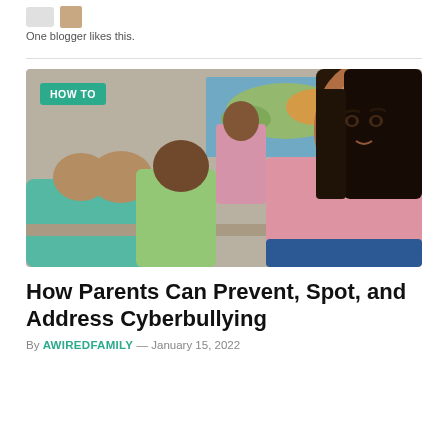One blogger likes this.
[Figure (photo): Classroom scene with children at desks; a girl in a pink shirt in the foreground looks back with a concerned expression, two other girls behind her, and a teacher in the background. A 'HOW TO' badge overlays the top-left corner.]
How Parents Can Prevent, Spot, and Address Cyberbullying
By AWIREDFAMILY — January 15, 2022